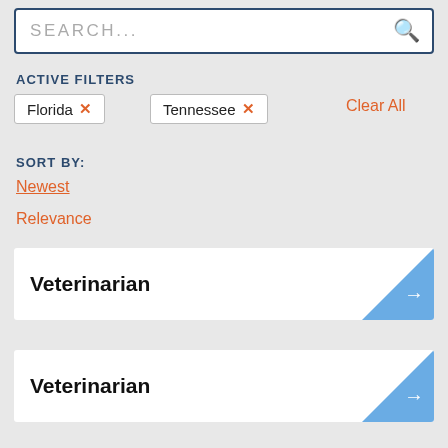SEARCH...
ACTIVE FILTERS
Florida ×
Tennessee ×
Clear All
SORT BY:
Newest
Relevance
Veterinarian
Veterinarian